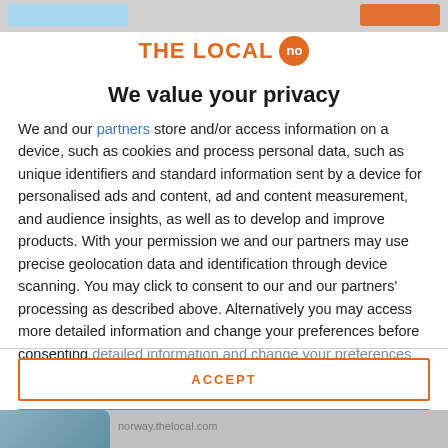[Figure (logo): THE LOCAL no logo — orange text with orange circular badge containing 'no']
We value your privacy
We and our partners store and/or access information on a device, such as cookies and process personal data, such as unique identifiers and standard information sent by a device for personalised ads and content, ad and content measurement, and audience insights, as well as to develop and improve products. With your permission we and our partners may use precise geolocation data and identification through device scanning. You may click to consent to our and our partners' processing as described above. Alternatively you may access more detailed information and change your preferences before consenting